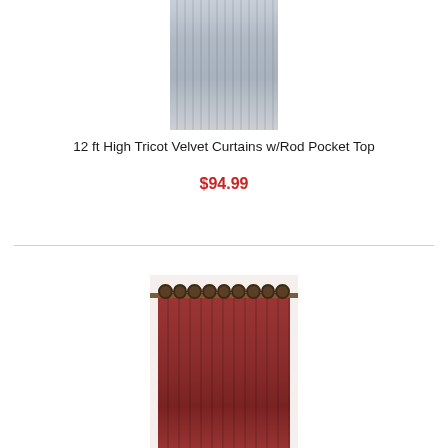[Figure (photo): Gray/silver velvet curtain panel with rod pocket top, shown hanging with folds]
12 ft High Tricot Velvet Curtains w/Rod Pocket Top
$94.99
[Figure (photo): Burgundy/red curtain panel with grommet top on a curtain rod, shown hanging straight]